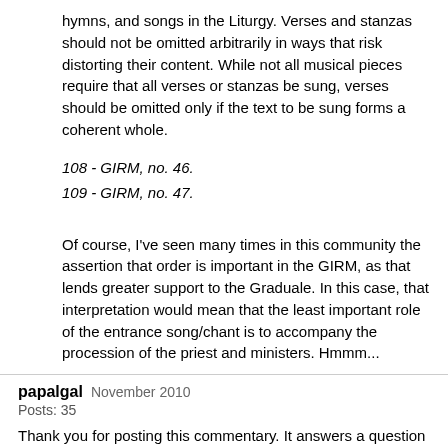hymns, and songs in the Liturgy. Verses and stanzas should not be omitted arbitrarily in ways that risk distorting their content. While not all musical pieces require that all verses or stanzas be sung, verses should be omitted only if the text to be sung forms a coherent whole.
108 - GIRM, no. 46.
109 - GIRM, no. 47.
Of course, I've seen many times in this community the assertion that order is important in the GIRM, as that lends greater support to the Graduale. In this case, that interpretation would mean that the least important role of the entrance song/chant is to accompany the procession of the priest and ministers. Hmmm...
papalgal  November 2010
Posts: 35
Thank you for posting this commentary. It answers a question that has been nagging at me for quite a long time. It seems though my parish has bought into this argument hook, line and sinker. Our entrance hymn goes on into what seems to be eternity. It's painful enough that it's the OCP drek, but, it's excruciating to have to sing all of the verses of it, since the procession is not very long.